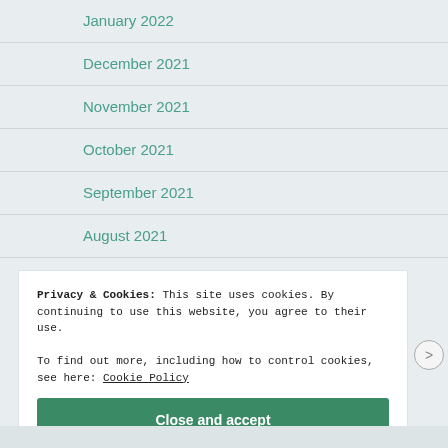January 2022
December 2021
November 2021
October 2021
September 2021
August 2021
Privacy & Cookies: This site uses cookies. By continuing to use this website, you agree to their use.
To find out more, including how to control cookies, see here: Cookie Policy
Close and accept